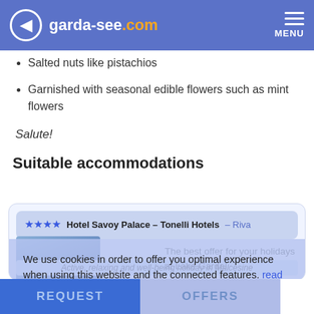garda-see.com — MENU
Salted nuts like pistachios
Garnished with seasonal edible flowers such as mint flowers
Salute!
Suitable accommodations
[Figure (screenshot): Hotel card showing Hotel Savoy Palace - Tonelli Hotels - Riva with 4-star rating, hotel image, offer text 'The best offer for your holidays at Lake Garda!', from 60€, Hotel Baia Verde, and 'Active, relaxing and well-being holiday in Malcesine']
We use cookies in order to offer you optimal experience when using this website and the connected features. read more
Deny | Allow
REQUEST | OFFERS